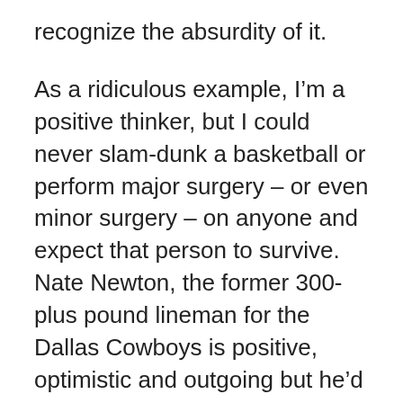recognize the absurdity of it.
As a ridiculous example, I’m a positive thinker, but I could never slam-dunk a basketball or perform major surgery – or even minor surgery – on anyone and expect that person to survive.  Nate Newton, the former 300-plus pound lineman for the Dallas Cowboys is positive, optimistic and outgoing but he’d be a complete failure as a jockey or a ballet dancer.
It’s safe to say that positive thinking won’t let you do “anything.”  However, it is even safer to say that positive thinking will let